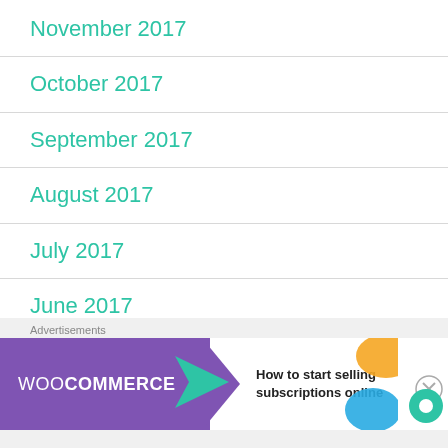November 2017
October 2017
September 2017
August 2017
July 2017
June 2017
May 2017
[Figure (screenshot): WooCommerce advertisement banner: 'How to start selling subscriptions online']